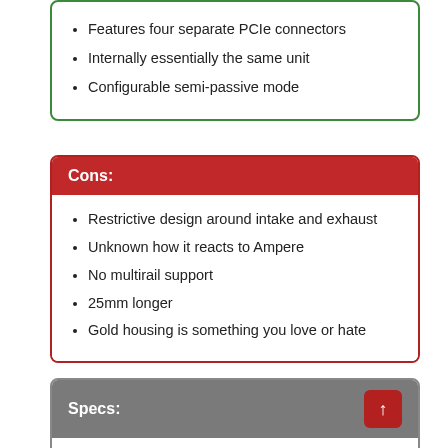Features four separate PCIe connectors
Internally essentially the same unit
Configurable semi-passive mode
Cons:
Restrictive design around intake and exhaust
Unknown how it reacts to Ampere
No multirail support
25mm longer
Gold housing is something you love or hate
Specs:
OEM: Seasonic